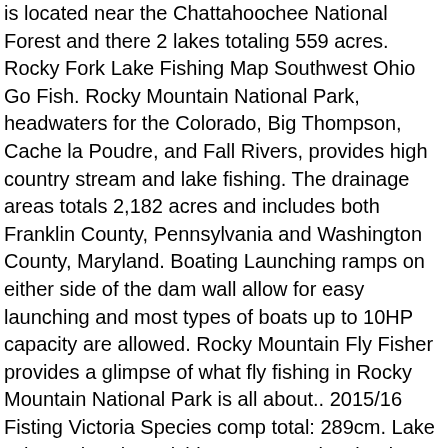is located near the Chattahoochee National Forest and there 2 lakes totaling 559 acres. Rocky Fork Lake Fishing Map Southwest Ohio Go Fish. Rocky Mountain National Park, headwaters for the Colorado, Big Thompson, Cache la Poudre, and Fall Rivers, provides high country stream and lake fishing. The drainage areas totals 2,182 acres and includes both Franklin County, Pennsylvania and Washington County, Maryland. Boating Launching ramps on either side of the dam wall allow for easy launching and most types of boats up to 10HP capacity are allowed. Rocky Mountain Fly Fisher provides a glimpse of what fly fishing in Rocky Mountain National Park is all about.. 2015/16 Fisting Victoria Species comp total: 289cm. Lake Erie Rocky River Fishing Reports Cleveland Metroparks. Another location named after the Spragues, who homesteaded nearby in 1874, Sprague Lake is one of the most readily accessible fishing spots in the park, with a wheelchair-friendly path, as well as boardwalks and bridges around the lake. Fishing Planet - Ep. The best spot at Pretty Valley is directly opposite the overflow where the little creek flows in at the dam wall end. Fishing opportunities in the Rocky region range from high country catch and release fly fishing to big lake fishing to wintertime ice fishing. Like many companies, Tourism North East uses cookies and other technologies, some of which are essential to make this website work. I'll be heading up that part of the world on in a couple of we should be good fun. At 1600m this is the highest significant body of water in Australia. Just a short distance from the heart of the village, the lake provides